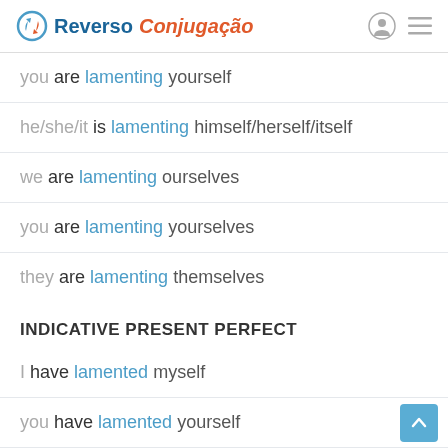Reverso Conjugação
you are lamenting yourself
he/she/it is lamenting himself/herself/itself
we are lamenting ourselves
you are lamenting yourselves
they are lamenting themselves
INDICATIVE PRESENT PERFECT
I have lamented myself
you have lamented yourself
he/she/it has lamented himself/herself/itself
we have lamented ourselves